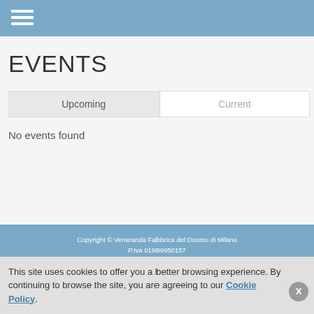≡
EVENTS
| Upcoming | Current |
| --- | --- |
No events found
Copyright © Veneranda Fabbrica del Duomo di Milano
P.Iva 01989950157
Veneranda Fabbrica del Duomo di Milano
Via Carlo Maria Martini, 1 – 20122 – Milano
This site uses cookies to offer you a better browsing experience. By continuing to browse the site, you are agreeing to our Cookie Policy